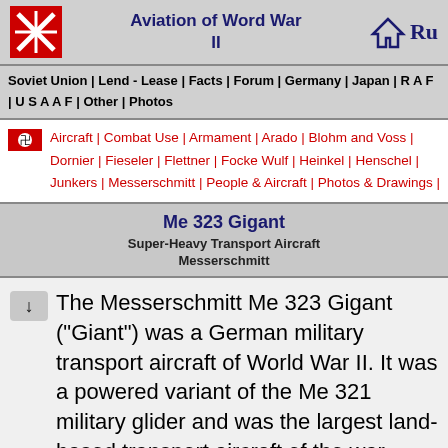Aviation of Word War II
Soviet Union | Lend - Lease | Facts | Forum | Germany | Japan | R A F | U S A A F | Other | Photos
Aircraft | Combat Use | Armament | Arado | Blohm and Voss | Dornier | Fieseler | Flettner | Focke Wulf | Heinkel | Henschel | Junkers | Messerschmitt | People & Aircraft | Photos & Drawings |
Me 323 Gigant
Super-Heavy Transport Aircraft
Messerschmitt
The Messerschmitt Me 323 Gigant ("Giant") was a German military transport aircraft of World War II. It was a powered variant of the Me 321 military glider and was the largest land-based transport aircraft of the war.
The aircraft was a strut-braced high-wing